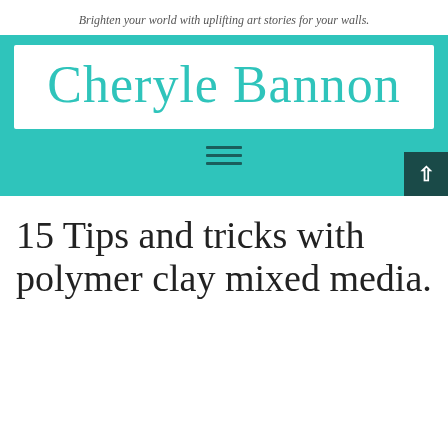Brighten your world with uplifting art stories for your walls.
[Figure (logo): Cheryle Bannon website logo on white background inside teal banner, with hamburger menu icon and scroll-to-top button]
15 Tips and tricks with polymer clay mixed media.